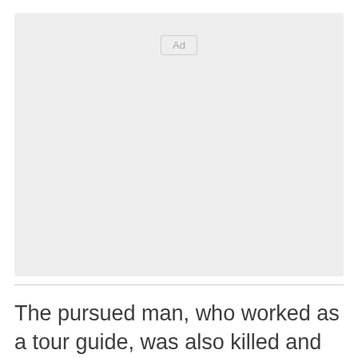[Figure (other): Advertisement placeholder box with 'Ad' label button centered at the top]
The pursued man, who worked as a tour guide, was also killed and his body taken away with those of the two priests.